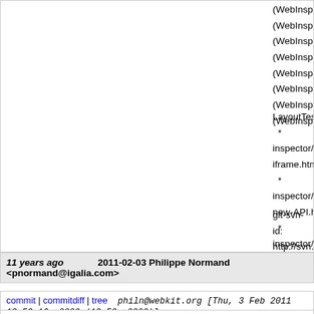(WebInspector.CSSStyleModel.prototype.add
(WebInspector.CSSStyleModel.prototype._st
(WebInspector.CSSStyleModel.prototype._on
(WebInspector.CSSStyleDeclaration.prototyp
(WebInspector.CSSProperty.prototype.setTe
(WebInspector.CSSProperty.prototype.setDis
(WebInspector.CSSStyleSheet.createForId):
(WebInspector.CSSStyleSheet.prototype.set
LayoutTests:
* inspector/styles-iframe.html:
* inspector/styles-new-API.html:
* inspector/styles-source-lines-inline.html:
    * inspector/styles-source-lines.html:
    * inspector/styles-source-offsets.html:
git-svn-id: http://svn.webkit.org/repository/webkit/trunk@7 cd09-0410-ab3c-d52691b4dbfc
11 years ago   2011-02-03 Philippe Normand <pnormand@igalia.com>
commit | commitdiff | tree   philn@webkit.org [Thu, 3 Feb 2011 12:52:16 +0000 (12:52 +0000)]
2011-02-03 Philippe Normand <pnormand@igalia.com>